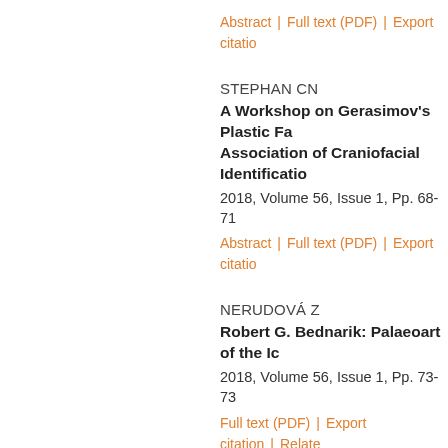Abstract | Full text (PDF) | Export citation
STEPHAN CN
A Workshop on Gerasimov's Plastic Fa... Association of Craniofacial Identificatio...
2018, Volume 56, Issue 1, Pp. 68-71
Abstract | Full text (PDF) | Export citation
NERUDOVÁ Z
Robert G. Bednarik: Palaeoart of the Ic...
2018, Volume 56, Issue 1, Pp. 73-73
Full text (PDF) | Export citation | Related
TVRDÝ Z
Wolf-Rüdiger Teegen, Michael Schultz (... in Wagrien VII. Die mensch - lichen Ske...
2018, Volume 56, Issue 1, Pp. 74-74
Full text (PDF) | Export citation | Related